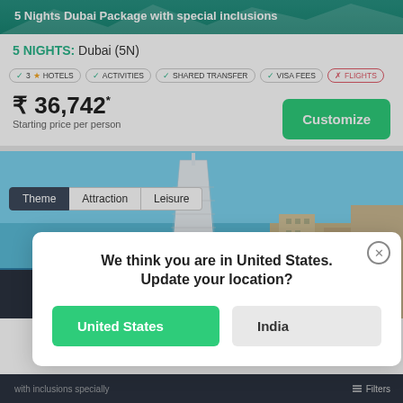[Figure (photo): Top banner with teal/green gradient header, text partially visible]
5 NIGHTS: Dubai (5N)
✓ 3★ HOTELS   ✓ ACTIVITIES   ✓ SHARED TRANSFER   ✓ VISA FEES   ✗ FLIGHTS
₹ 36,742*
Starting price per person
Customize
[Figure (photo): Dubai skyline with Burj Al Arab hotel visible against blue sky]
Theme   Attraction   Leisure
We think you are in United States.
Update your location?
United States
India
Filters